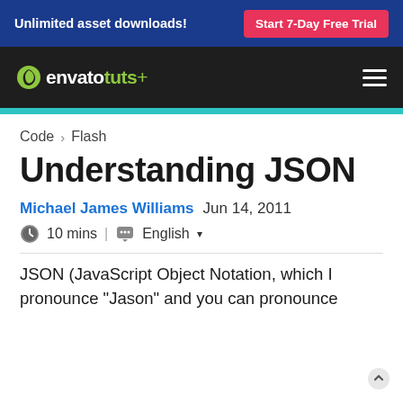Unlimited asset downloads! | Start 7-Day Free Trial
[Figure (logo): Envato Tuts+ logo with navigation bar on dark background]
Code > Flash
Understanding JSON
Michael James Williams  Jun 14, 2011
10 mins  |  English
JSON (JavaScript Object Notation, which I pronounce "Jason" and you can pronounce